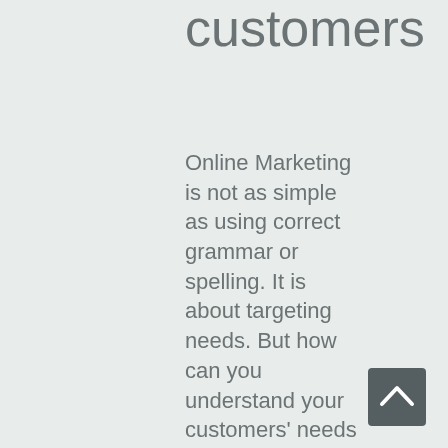customers
Online Marketing is not as simple as using correct grammar or spelling. It is about targeting needs. But how can you understand your customers' needs if you don´t
[Figure (other): Scroll to top button with upward chevron arrow, dark grey rounded square button in bottom right corner]